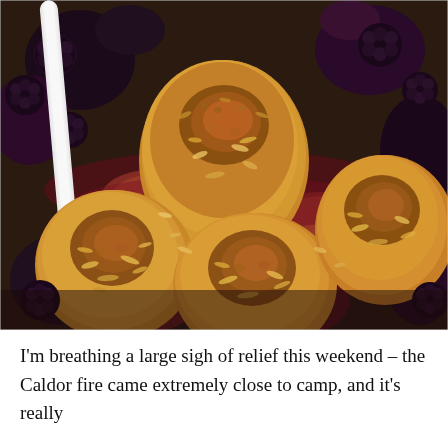[Figure (photo): Close-up photo of golden-brown oat biscuit/cobbler toppings baked on top of dark berry and stone fruit filling in a white baking dish. The biscuits are crumbly, textured with oats, and browned on top.]
I'm breathing a large sigh of relief this weekend – the Caldor fire came extremely close to camp, and it's really